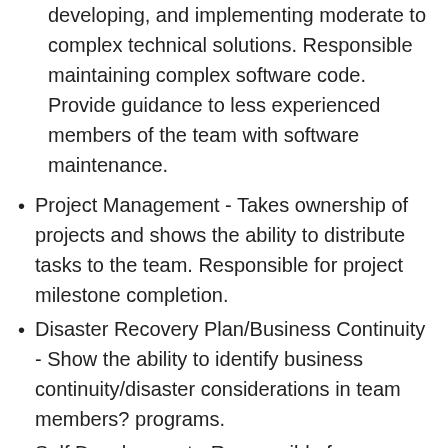developing, and implementing moderate to complex technical solutions. Responsible maintaining complex software code. Provide guidance to less experienced members of the team with software maintenance.
Project Management - Takes ownership of projects and shows the ability to distribute tasks to the team. Responsible for project milestone completion.
Disaster Recovery Plan/Business Continuity - Show the ability to identify business continuity/disaster considerations in team members? programs.
Self Development - Responsible for continuous self-study, trainings, partnering with more senior members of team, and/or seeking out opportunities to broaden scope to stay up to date with industry and organizational trends. Seeks feedback from